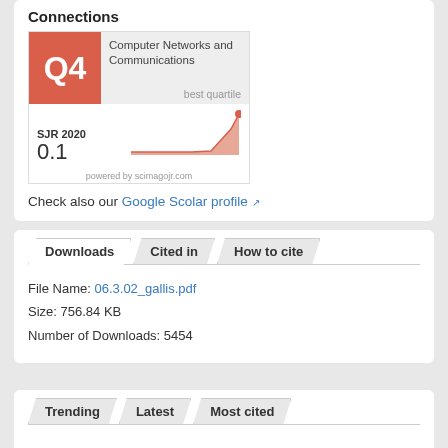Connections
[Figure (infographic): ScimagoJR widget showing Q4 quartile in Computer Networks and Communications, SJR 2020 value of 0.1 with a line/area chart showing trend, powered by scimagojr.com]
Check also our Google Scolar profile
Downloads | Cited in | How to cite
File Name: 06.3.02_gallis.pdf
Size: 756.84 KB
Number of Downloads: 5454
Trending | Latest | Most cited